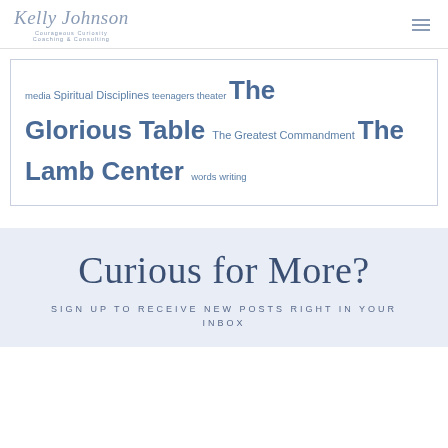Kelly Johnson Courageous Curiosity Coaching & Consulting
media Spiritual Disciplines teenagers theater The Glorious Table The Greatest Commandment The Lamb Center words writing
Curious for More?
SIGN UP TO RECEIVE NEW POSTS RIGHT IN YOUR INBOX